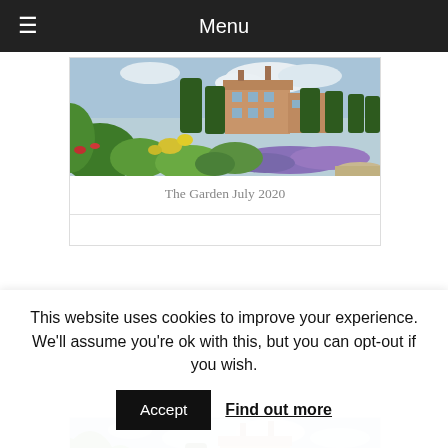Menu
[Figure (photo): A garden photograph showing topiary hedges, colourful flowering plants including lavender and yellow flowers, and a Georgian brick manor house in the background under a partly cloudy sky.]
The Garden July 2020
[Figure (photo): A second garden photograph showing the same Georgian brick manor house and topiary yew hedges viewed from a different angle, with lush green shrubs and flowering plants in the foreground.]
This website uses cookies to improve your experience. We'll assume you're ok with this, but you can opt-out if you wish.